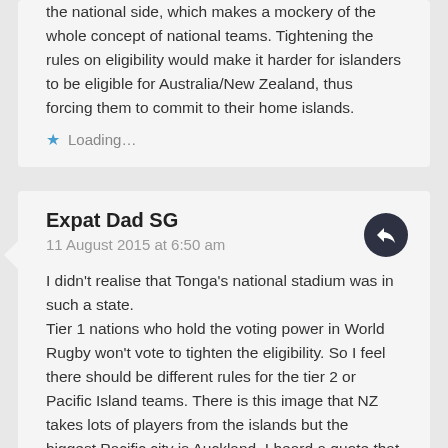the national side, which makes a mockery of the whole concept of national teams. Tightening the rules on eligibility would make it harder for islanders to be eligible for Australia/New Zealand, thus forcing them to commit to their home islands.
Loading...
Expat Dad SG
11 August 2015 at 6:50 am
I didn't realise that Tonga's national stadium was in such a state.
Tier 1 nations who hold the voting power in World Rugby won't vote to tighten the eligibility. So I feel there should be different rules for the tier 2 or Pacific Island teams. There is this image that NZ takes lots of players from the islands but the biggest Pacific city is Auckland. I heard a quote that 13 players in the Samoa squad against NZ